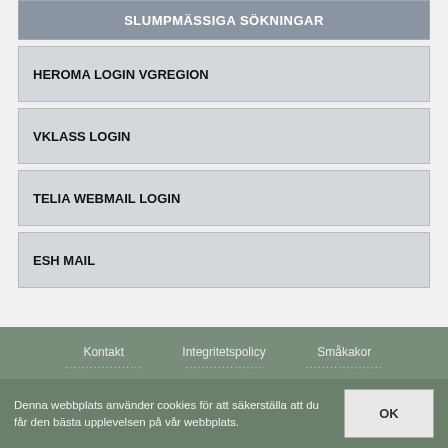SLUMPMÄSSIGA SÖKNINGAR
HEROMA LOGIN VGREGION
VKLASS LOGIN
TELIA WEBMAIL LOGIN
ESH MAIL
Kontakt    Integritetspolicy    Småkakor
Denna webbplats använder cookies för att säkerställa att du får den bästa upplevelsen på vår webbplats.